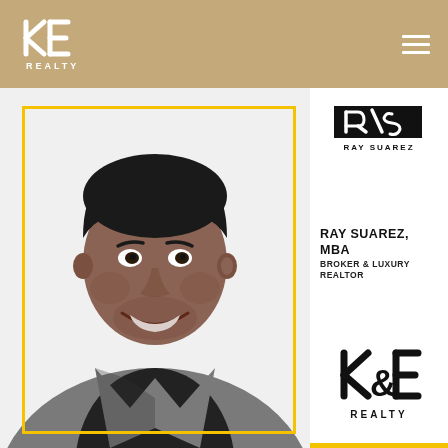KE REALTY navigation bar with logo and hamburger menu
[Figure (photo): Professional headshot of Ray Suarez wearing a grey blazer and black shirt, smiling, with a yellow border frame around the photo]
[Figure (logo): Ray Suarez personal brand logo with stylized RS letters and RAY SUAREZ text]
RAY SUAREZ, MBA
BROKER & LUXURY REALTOR
[Figure (logo): K&E REALTY logo in black with ampersand design and REALTY text below]